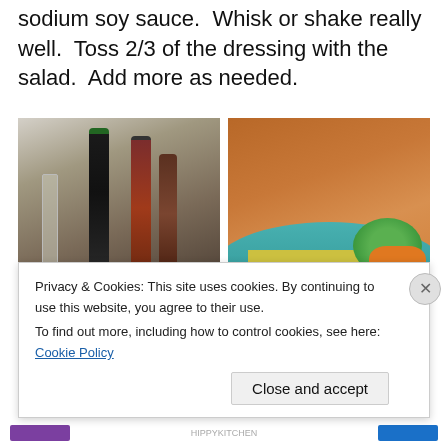sodium soy sauce.  Whisk or shake really well.  Toss 2/3 of the dressing with the salad.  Add more as needed.
[Figure (photo): Two photos side by side: left shows condiment bottles (vinegar, soy sauce, hot sauce), a glass jar, and a lime on a counter; right shows a close-up of dressing being poured from a glass container into a colorful salad bowl with yellow, green, and orange vegetables.]
Serve immediately so the slaw does not become soggy.
Privacy & Cookies: This site uses cookies. By continuing to use this website, you agree to their use.
To find out more, including how to control cookies, see here: Cookie Policy
Close and accept